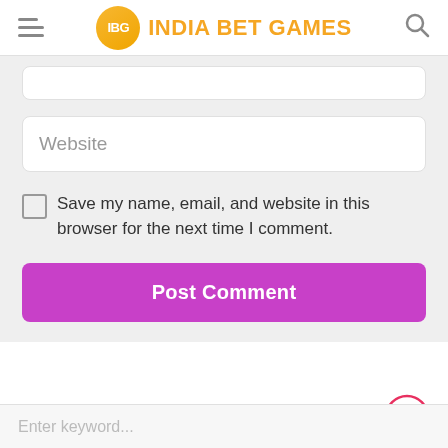IBG INDIA BET GAMES
Website
Save my name, email, and website in this browser for the next time I comment.
Post Comment
Enter keyword...